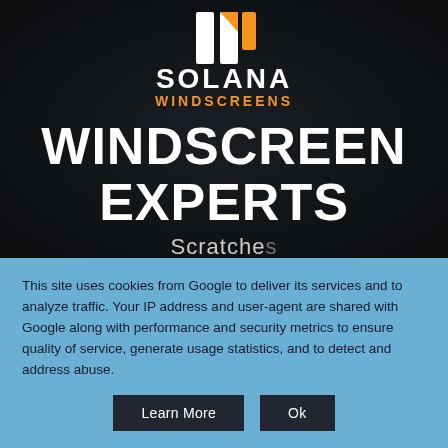[Figure (logo): Solana Windscreens logo with orange geometric icon above white 'SOLANA' text and orange 'WINDSCREENS' text]
WINDSCREEN EXPERTS
Scratches
This site uses cookies from Google to deliver its services and to analyze traffic. Your IP address and user-agent are shared with Google along with performance and security metrics to ensure quality of service, generate usage statistics, and to detect and address abuse.
Learn More   Ok